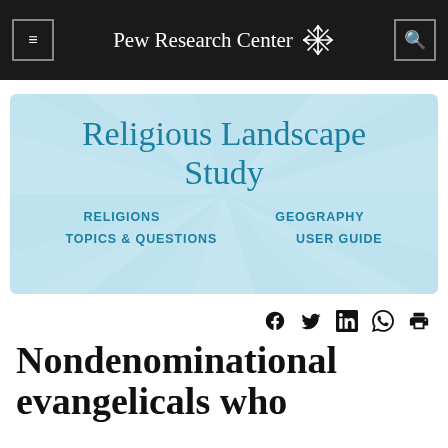Pew Research Center
[Figure (screenshot): Religious Landscape Study banner with teal title text on light blue background with radiating ray pattern, navigation links: RELIGIONS, GEOGRAPHY, TOPICS & QUESTIONS, USER GUIDE]
[Figure (other): Social media share icons: Facebook, Twitter, LinkedIn, WhatsApp, Print]
Nondenominational evangelicals who